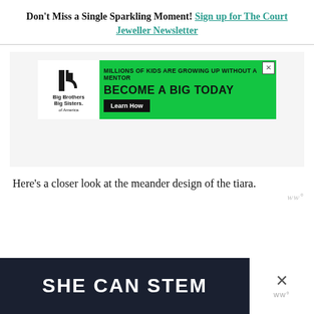Don't Miss a Single Sparkling Moment! Sign up for The Court Jeweller Newsletter
[Figure (screenshot): Big Brothers Big Sisters of America advertisement banner with green background. Text reads: MILLIONS OF KIDS ARE GROWING UP WITHOUT A MENTOR. BECOME A BIG TODAY. Learn How button.]
Here's a closer look at the meander design of the tiara.
[Figure (screenshot): Dark navy background advertisement banner with bold white text reading SHE CAN STEM, with a close button and ww° badge on the right.]